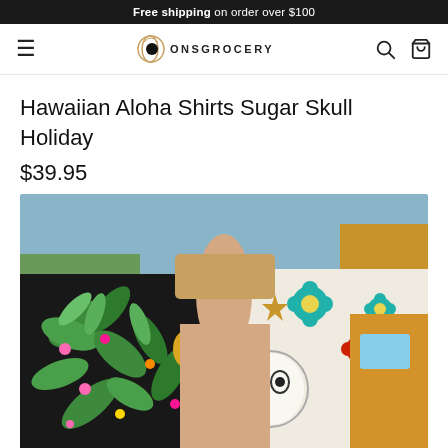Free shipping on order over $100
[Figure (logo): OnsGrocery logo with circular moon/O icon and store name in caps]
Hawaiian Aloha Shirts Sugar Skull Holiday
$39.95
[Figure (photo): A person wearing two Hawaiian aloha shirts side by side — left shirt has black background with tropical green palm leaves, pink/yellow flowers and pineapples; right shirt has cream/white background with colorful floral sugar skull pattern featuring teal, red and gold flowers. A yellow vehicle is visible in the background.]